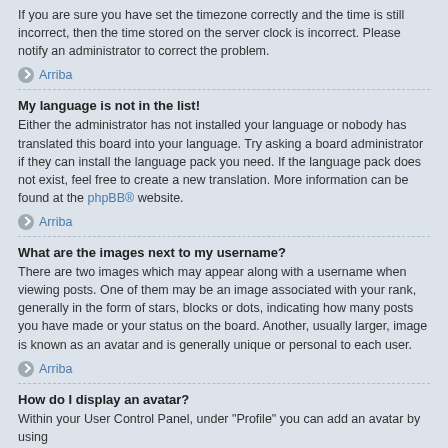If you are sure you have set the timezone correctly and the time is still incorrect, then the time stored on the server clock is incorrect. Please notify an administrator to correct the problem.
↑ Arriba
My language is not in the list!
Either the administrator has not installed your language or nobody has translated this board into your language. Try asking a board administrator if they can install the language pack you need. If the language pack does not exist, feel free to create a new translation. More information can be found at the phpBB® website.
↑ Arriba
What are the images next to my username?
There are two images which may appear along with a username when viewing posts. One of them may be an image associated with your rank, generally in the form of stars, blocks or dots, indicating how many posts you have made or your status on the board. Another, usually larger, image is known as an avatar and is generally unique or personal to each user.
↑ Arriba
How do I display an avatar?
Within your User Control Panel, under "Profile" you can add an avatar by using one of the four following methods: Gravatar, Gallery, Remote or Upload. It is up to the board administrator to enable avatars and to choose the way in which avatars can be made available.